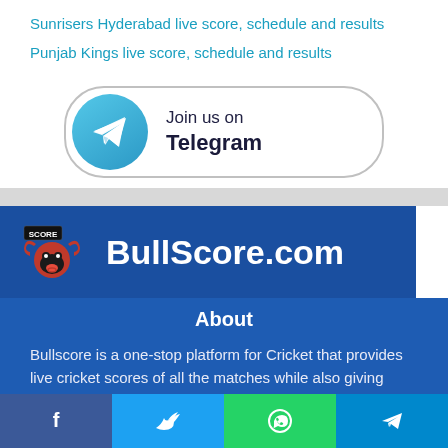Sunrisers Hyderabad live score, schedule and results
Punjab Kings live score, schedule and results
[Figure (infographic): Join us on Telegram button with Telegram logo circle]
[Figure (logo): BullScore.com logo with bull mascot and site name]
About
Bullscore is a one-stop platform for Cricket that provides live cricket scores of all the matches while also giving detailed coverage of almost all the leagues, tournaments, and matches from around the world with real-time updated standings, details
Social share bar: Facebook, Twitter, WhatsApp, Telegram